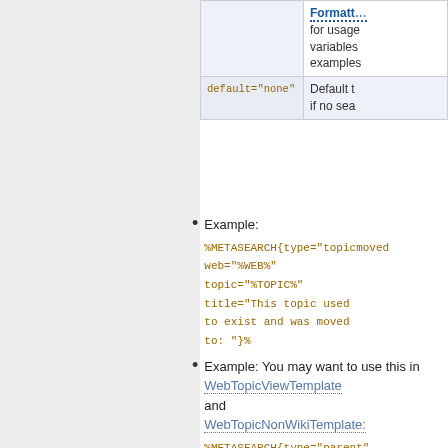|  | Formatter for usage variables examples |
| default="none" | Default t if no sea |
Example: %METASEARCH{type="topicmoved web="%WEB%" topic="%TOPIC%" title="This topic used to exist and was moved to: "}%
Example: You may want to use this in WebTopicViewTemplate and WebTopicNonWikiTemplate: %METASEARCH{type="parent" web="%WEB%" topic="%TOPIC%"